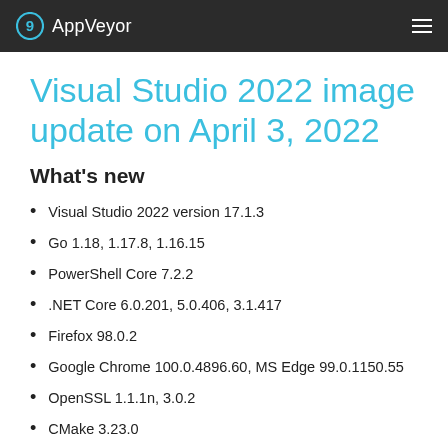AppVeyor
Visual Studio 2022 image update on April 3, 2022
What's new
Visual Studio 2022 version 17.1.3
Go 1.18, 1.17.8, 1.16.15
PowerShell Core 7.2.2
.NET Core 6.0.201, 5.0.406, 3.1.417
Firefox 98.0.2
Google Chrome 100.0.4896.60, MS Edge 99.0.1150.55
OpenSSL 1.1.1n, 3.0.2
CMake 3.23.0
Python 3.9.12, 3.10.4
Ruby 3.1.1-1
Qt 6.3.0, added Qt 6.3.1, added Qt 5.1.12, 6.3.1...